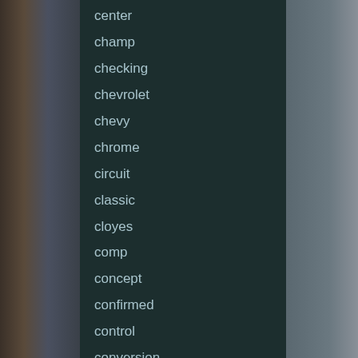center
champ
checking
chevrolet
chevy
chrome
circuit
classic
cloyes
comp
concept
confirmed
control
conversion
convertible
corvette
couture
cowl
customer